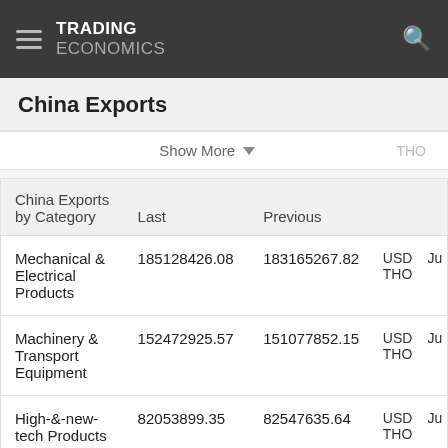TRADING ECONOMICS
China Exports
Show More   THO
| China Exports by Category | Last | Previous | Unit |  |
| --- | --- | --- | --- | --- |
| Mechanical & Electrical Products | 185128426.08 | 183165267.82 | USD THO | Ju |
| Machinery & Transport Equipment | 152472925.57 | 151077852.15 | USD THO | Ju |
| High-&-new-tech Products | 82053899.35 | 82547635.64 | USD THO | Ju |
| Automatic Data... | 31979731.03 | 33966176.49 | USD | Ju |